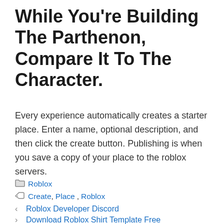While You're Building The Parthenon, Compare It To The Character.
Every experience automatically creates a starter place. Enter a name, optional description, and then click the create button. Publishing is when you save a copy of your place to the roblox servers.
Categories: Roblox
Tags: Create, Place, Roblox
< Roblox Developer Discord
> Download Roblox Shirt Template Free